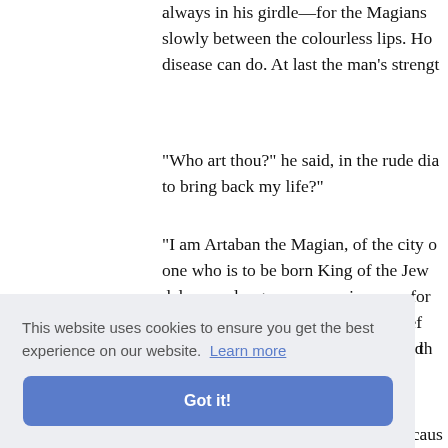always in his girdle—for the Magians slowly between the colourless lips. Ho disease can do. At last the man's strengt
"Who art thou?" he said, in the rude dia to bring back my life?"
"I am Artaban the Magian, of the city o one who is to be born King of the Jew delay any longer upon my journey, for me. But see, here is all that I have lef herbs. When thy strength is restored th houses of Babylon."
and solem
am and I ace to hi ell thee rn not in bring thee in safety to that place, becaus
This website uses cookies to ensure you get the best experience on our website. Learn more Got it!